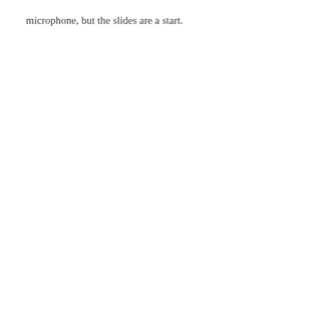microphone, but the slides are a start.